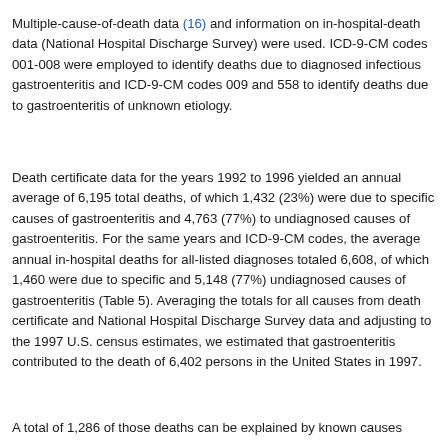Multiple-cause-of-death data (16) and information on in-hospital-death data (National Hospital Discharge Survey) were used. ICD-9-CM codes 001-008 were employed to identify deaths due to diagnosed infectious gastroenteritis and ICD-9-CM codes 009 and 558 to identify deaths due to gastroenteritis of unknown etiology.
Death certificate data for the years 1992 to 1996 yielded an annual average of 6,195 total deaths, of which 1,432 (23%) were due to specific causes of gastroenteritis and 4,763 (77%) to undiagnosed causes of gastroenteritis. For the same years and ICD-9-CM codes, the average annual in-hospital deaths for all-listed diagnoses totaled 6,608, of which 1,460 were due to specific and 5,148 (77%) undiagnosed causes of gastroenteritis (Table 5). Averaging the totals for all causes from death certificate and National Hospital Discharge Survey data and adjusting to the 1997 U.S. census estimates, we estimated that gastroenteritis contributed to the death of 6,402 persons in the United States in 1997.
A total of 1,286 of those deaths can be explained by known causes...